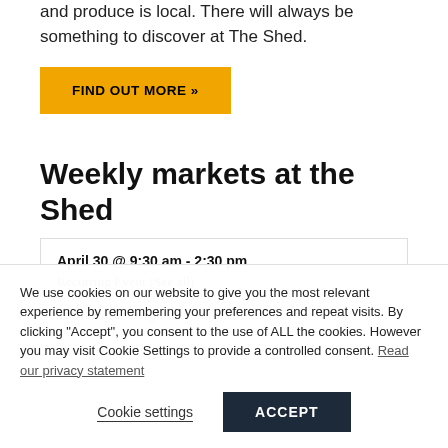and produce is local. There will always be something to discover at The Shed.
FIND OUT MORE »
Weekly markets at the Shed
April 30 @ 9:30 am - 2:30 pm
Recurring Event (See all)
Town Park, Sergeants Yard
We use cookies on our website to give you the most relevant experience by remembering your preferences and repeat visits. By clicking “Accept”, you consent to the use of ALL the cookies. However you may visit Cookie Settings to provide a controlled consent. Read our privacy statement
Cookie settings
ACCEPT